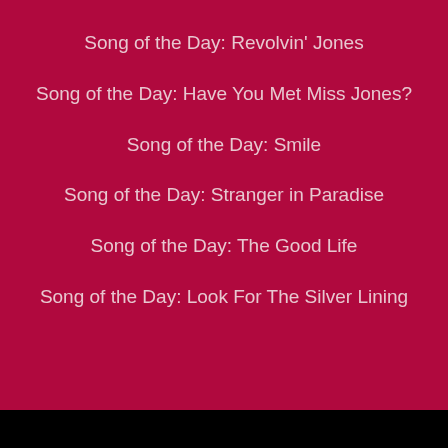Song of the Day: Revolvin' Jones
Song of the Day: Have You Met Miss Jones?
Song of the Day: Smile
Song of the Day: Stranger in Paradise
Song of the Day: The Good Life
Song of the Day: Look For The Silver Lining